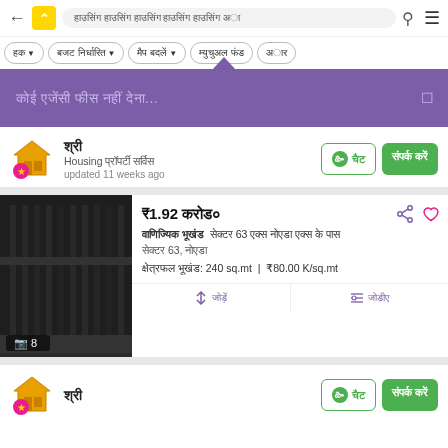← [logo] [URL bar with Hindi text] [search] [menu]
HK ▾  [filter pills with Hindi text]
[Figure (screenshot): Purple tooltip banner with Hindi text: 'कोई एजेंसी फीस नहीं...' and a close icon on the right]
श्री | Housing प्रॉपर्टी सर्विस
updated 11 weeks ago
₹1.92 करोड़
वाणिज्यिक भूखंड  सेक्टर 63 एक्स नोएडा एक्स के पास
सेक्टर 63, नोएडा
क्षेत्रफल भूखंड: 240 sq.mt  |  ₹80.00 K/sq.mt
[Figure (photo): Dark/grayscale photo of a property building entrance with a gate. Bottom-left shows image count badge: image icon + 8]
श्री